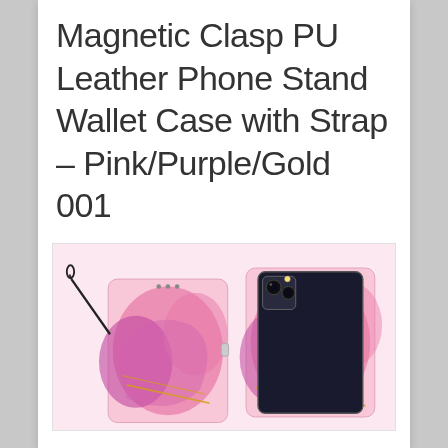Magnetic Clasp PU Leather Phone Stand Wallet Case with Strap – Pink/Purple/Gold 001
[Figure (photo): Product photo showing a pink/purple/gold marble-patterned PU leather wallet phone case with magnetic clasp and wrist strap, displayed from two angles: closed with strap visible on left, and open showing the phone and card slots on right.]